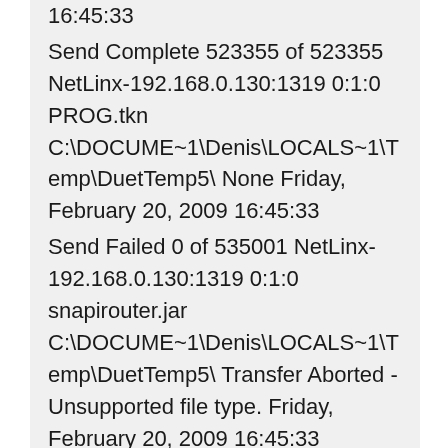16:45:33 Send Complete 523355 of 523355 NetLinx-192.168.0.130:1319 0:1:0 PROG.tkn C:\DOCUME~1\Denis\LOCALS~1\Temp\DuetTemp5\ None Friday, February 20, 2009 16:45:33 Send Failed 0 of 535001 NetLinx-192.168.0.130:1319 0:1:0 snapirouter.jar C:\DOCUME~1\Denis\LOCALS~1\Temp\DuetTemp5\ Transfer Aborted - Unsupported file type. Friday, February 20, 2009 16:45:33